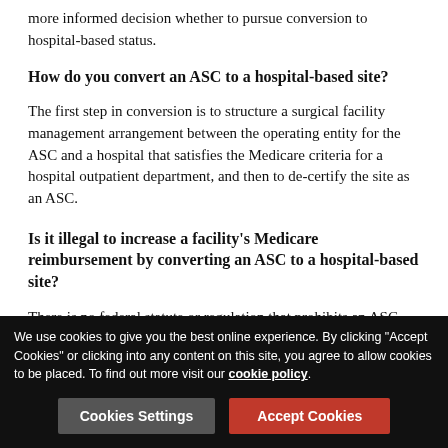more informed decision whether to pursue conversion to hospital-based status.
How do you convert an ASC to a hospital-based site?
The first step in conversion is to structure a surgical facility management arrangement between the operating entity for the ASC and a hospital that satisfies the Medicare criteria for a hospital outpatient department, and then to de-certify the site as an ASC.
Is it illegal to increase a facility's Medicare reimbursement by converting an ASC to a hospital-based site?
There is no federal statute or regulation that prohibits an ASC
We use cookies to give you the best online experience. By clicking "Accept Cookies" or clicking into any content on this site, you agree to allow cookies to be placed. To find out more visit our cookie policy.